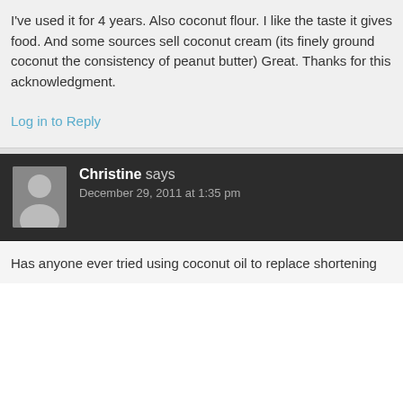I've used it for 4 years. Also coconut flour. I like the taste it gives food. And some sources sell coconut cream (its finely ground coconut the consistency of peanut butter) Great. Thanks for this acknowledgment.
Log in to Reply
Christine says
December 29, 2011 at 1:35 pm
Has anyone ever tried using coconut oil to replace shortening